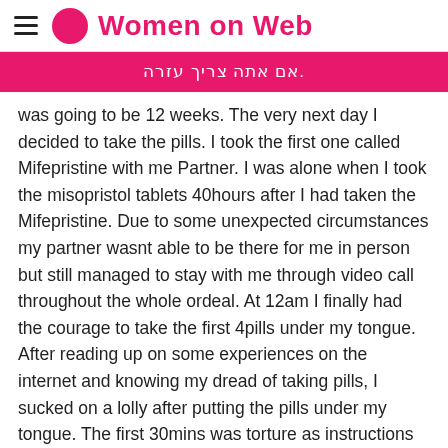Women on Web
אם אתה צריך עזרה.
was going to be 12 weeks. The very next day I decided to take the pills. I took the first one called Mifepristine with me Partner. I was alone when I took the misopristol tablets 40hours after I had taken the Mifepristine. Due to some unexpected circumstances my partner wasnt able to be there for me in person but still managed to stay with me through video call throughout the whole ordeal. At 12am I finally had the courage to take the first 4pills under my tongue. After reading up on some experiences on the internet and knowing my dread of taking pills, I sucked on a lolly after putting the pills under my tongue. The first 30mins was torture as instructions said I had to wait at least 30mins before swallowing them. It was hard keeping them under my tongue when the pills started to dissolve and thick grainy bitter saliva started to fill up in my mouth. The first instance I managed to